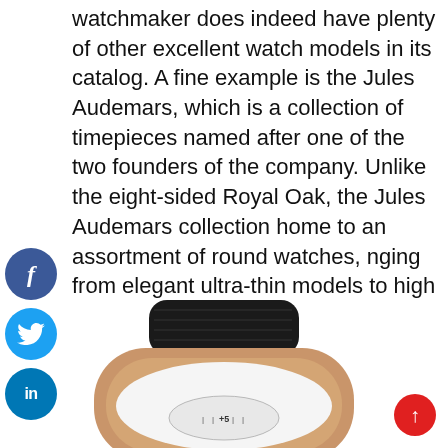watchmaker does indeed have plenty of other excellent watch models in its catalog. A fine example is the Jules Audemars, which is a collection of timepieces named after one of the two founders of the company. Unlike the eight-sided Royal Oak, the Jules Audemars collection home to an assortment of round watches, nging from elegant ultra-thin models to high omplication pieces. Join us as we highlight the pectacular Jules Audemars Equation of Time "New York" watch.
[Figure (photo): Partial view of a Jules Audemars watch with rose gold case and black crocodile leather strap, showing the dial with equation of time display]